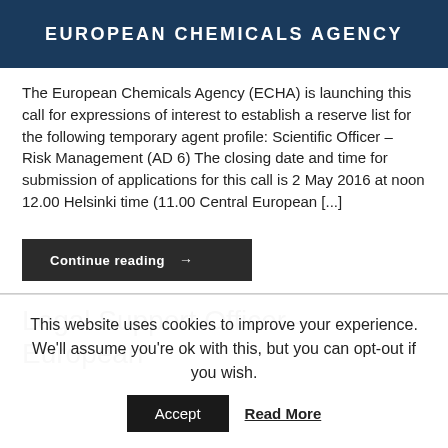[Figure (logo): European Chemicals Agency dark blue banner with white uppercase text]
The European Chemicals Agency (ECHA) is launching this call for expressions of interest to establish a reserve list for the following temporary agent profile: Scientific Officer – Risk Management (AD 6) The closing date and time for submission of applications for this call is 2 May 2016 at noon 12.00 Helsinki time (11.00 Central European [...]
Continue reading →
Legal Support Officer – European
This website uses cookies to improve your experience. We'll assume you're ok with this, but you can opt-out if you wish.
Accept
Read More